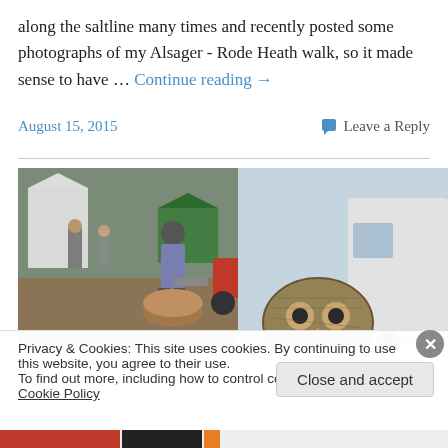along the saltline many times and recently posted some photographs of my Alsager - Rode Heath walk, so it made sense to have … Continue reading →
August 15, 2015    Leave a Reply
[Figure (photo): Outdoor event scene showing a man using a chainsaw on a log stump, with a tractor and green tent in the background on the left, and an owl's head visible on the right against a white van and blue sky.]
Privacy & Cookies: This site uses cookies. By continuing to use this website, you agree to their use.
To find out more, including how to control cookies, see here: Cookie Policy
Close and accept